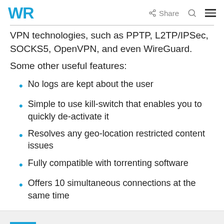WR | Share [search] [menu]
VPN technologies, such as PPTP, L2TP/IPSec, SOCKS5, OpenVPN, and even WireGuard.
Some other useful features:
No logs are kept about the user
Simple to use kill-switch that enables you to quickly de-activate it
Resolves any geo-location restricted content issues
Fully compatible with torrenting software
Offers 10 simultaneous connections at the same time